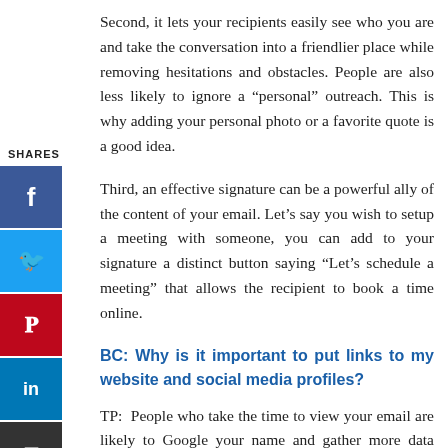Second, it lets your recipients easily see who you are and take the conversation into a friendlier place while removing hesitations and obstacles. People are also less likely to ignore a “personal” outreach. This is why adding your personal photo or a favorite quote is a good idea.
SHARES
[Figure (other): Social media sharing sidebar with Facebook, Twitter, Pinterest, LinkedIn, and email buttons]
Third, an effective signature can be a powerful ally of the content of your email. Let’s say you wish to setup a meeting with someone, you can add to your signature a distinct button saying “Let’s schedule a meeting” that allows the recipient to book a time online.
BC: Why is it important to put links to my website and social media profiles?
TP:  People who take the time to view your email are likely to Google your name and gather more data about you. Adding links to your website and profiles makes sure they will come across the content that